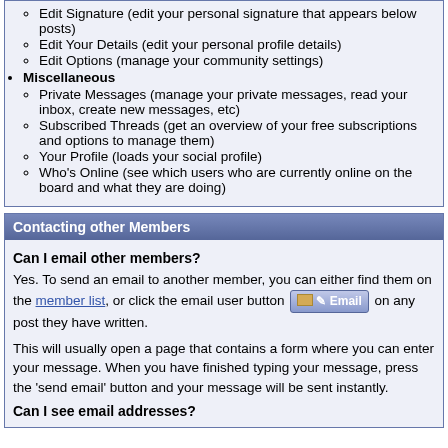Edit Signature (edit your personal signature that appears below posts)
Edit Your Details (edit your personal profile details)
Edit Options (manage your community settings)
Miscellaneous
Private Messages (manage your private messages, read your inbox, create new messages, etc)
Subscribed Threads (get an overview of your free subscriptions and options to manage them)
Your Profile (loads your social profile)
Who's Online (see which users who are currently online on the board and what they are doing)
Contacting other Members
Can I email other members?
Yes. To send an email to another member, you can either find them on the member list, or click the email user button [Email] on any post they have written.
This will usually open a page that contains a form where you can enter your message. When you have finished typing your message, press the 'send email' button and your message will be sent instantly.
Can I see email addresses?